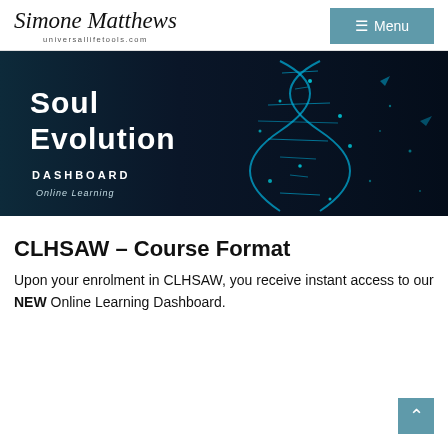Simone Matthews universallifetools.com
[Figure (illustration): Soul Evolution Dashboard Online Learning banner with glowing blue DNA helix on dark navy background]
CLHSAW – Course Format
Upon your enrolment in CLHSAW, you receive instant access to our NEW Online Learning Dashboard.